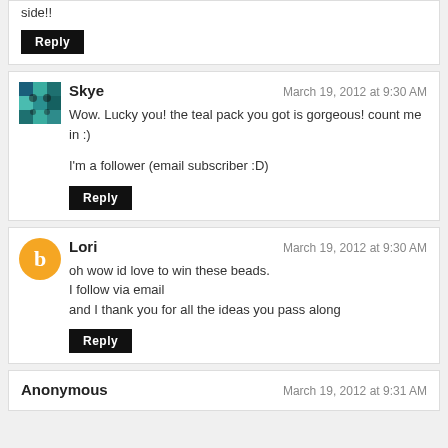side!!
Reply
Skye
Wow. Lucky you! the teal pack you got is gorgeous! count me in :)

I'm a follower (email subscriber :D)
Reply
Lori
oh wow id love to win these beads.
I follow via email
and I thank you for all the ideas you pass along
Reply
Anonymous